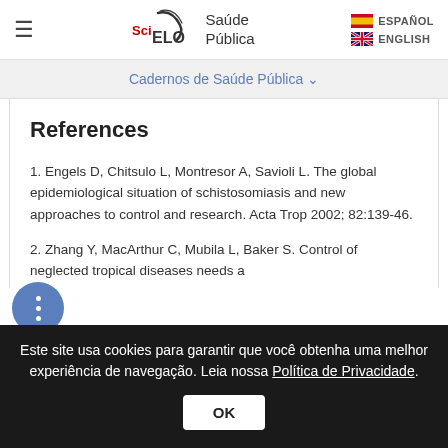SciELO Saúde Pública | ESPAÑOL | ENGLISH
Cadernos de Saúde Pública
References
1. Engels D, Chitsulo L, Montresor A, Savioli L. The global epidemiological situation of schistosomiasis and new approaches to control and research. Acta Trop 2002; 82:139-46.
2. Zhang Y, MacArthur C, Mubila L, Baker S. Control of neglected tropical diseases needs a
Este site usa cookies para garantir que você obtenha uma melhor experiência de navegação. Leia nossa Política de Privacidade.